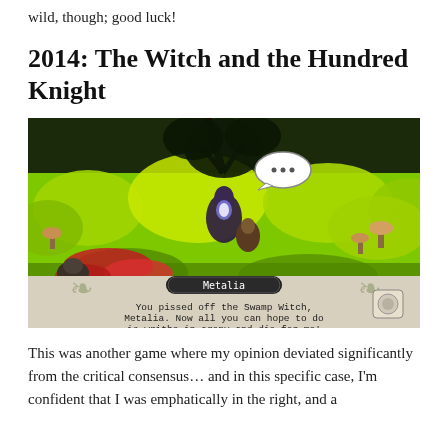wild, though; good luck!
2014: The Witch and the Hundred Knight
[Figure (screenshot): Screenshot from The Witch and the Hundred Knight video game showing a top-down action RPG scene with lush green swamp environment. A character named Metalia (the Swamp Witch) is shown with a speech bubble. Dialogue box at bottom reads: 'You pissed off the Swamp Witch, Metalia. Now all you can hope to do is writhe in agony and die for me!']
This was another game where my opinion deviated significantly from the critical consensus... and in this specific case, I'm confident that I was emphatically in the right, and a